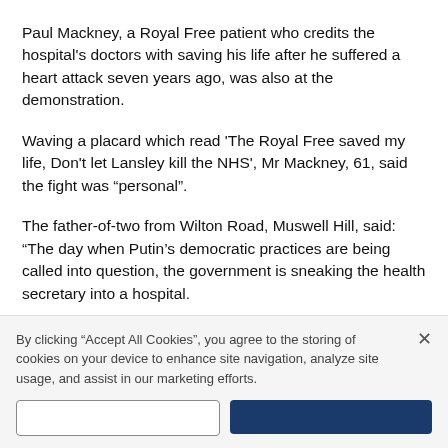Paul Mackney, a Royal Free patient who credits the hospital's doctors with saving his life after he suffered a heart attack seven years ago, was also at the demonstration.
Waving a placard which read 'The Royal Free saved my life, Don't let Lansley kill the NHS', Mr Mackney, 61, said the fight was "personal".
The father-of-two from Wilton Road, Muswell Hill, said: "The day when Putin's democratic practices are being called into question, the government is sneaking the health secretary into a hospital.
"It ... [partial, cut off]
By clicking "Accept All Cookies", you agree to the storing of cookies on your device to enhance site navigation, analyze site usage, and assist in our marketing efforts.